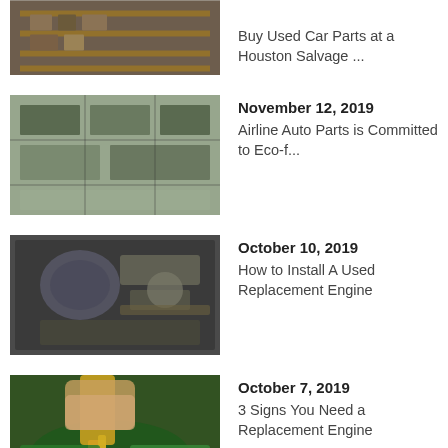[Figure (photo): Salvage yard with car parts on shelves]
Buy Used Car Parts at a Houston Salvage ...
[Figure (photo): Aerial view of auto parts storage yard]
November 12, 2019
Airline Auto Parts is Committed to Eco-f...
[Figure (photo): Used car engine compartment]
October 10, 2019
How to Install A Used Replacement Engine
[Figure (photo): Oil being poured into engine]
October 7, 2019
3 Signs You Need a Replacement Engine
[Figure (photo): Hand working on car electronics/components]
September 25, 2019
3 Signs It's Time to Replace Your ...
September 19, 2019